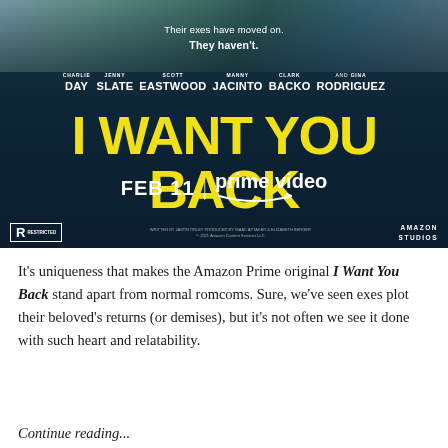[Figure (other): Movie poster for 'I Want You Back' on Amazon Prime Video. Dark teal/navy background with blurred figures at top. Cast: Charlie Day, Jenny Slate, Scott Eastwood, Manny Jacinto, Clark Backo, and Gina Rodriguez. Tagline: 'Their exes have moved on. They haven't.' Release date: FEB 11 on prime video. Rated R. Amazon Studios.]
It's uniqueness that makes the Amazon Prime original I Want You Back stand apart from normal romcoms. Sure, we've seen exes plot their beloved's returns (or demises), but it's not often we see it done with such heart and relatability.
Continue reading...